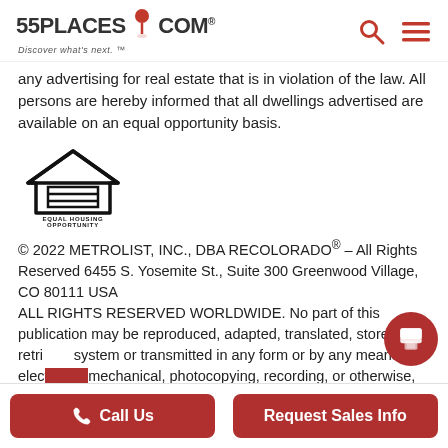55PLACES.COM — Discover what's next.™
any advertising for real estate that is in violation of the law. All persons are hereby informed that all dwellings advertised are available on an equal opportunity basis.
[Figure (logo): Equal Housing Opportunity logo — house outline with an equals sign inside and text 'EQUAL HOUSING OPPORTUNITY' below]
© 2022 METROLIST, INC., DBA RECOLORADO® – All Rights Reserved 6455 S. Yosemite St., Suite 300 Greenwood Village, CO 80111 USA
ALL RIGHTS RESERVED WORLDWIDE. No part of this publication may be reproduced, adapted, translated, stored in a retrieval system or transmitted in any form or by any means, electronic, mechanical, photocopying, recording, or otherwise, without the
Call Us | Request Sales Info